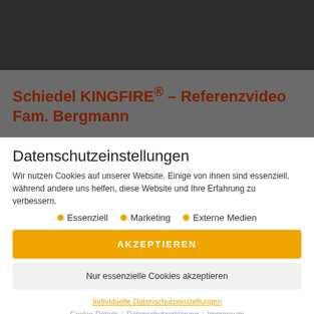[Figure (screenshot): Dark gray screenshot/video thumbnail area at top of page]
Schiedel KINGFIRE® – Referenzvideo Fam. Bergmann
Datenschutzeinstellungen
Wir nutzen Cookies auf unserer Website. Einige von ihnen sind essenziell, während andere uns helfen, diese Website und Ihre Erfahrung zu verbessern.
Essenziell
Marketing
Externe Medien
AKZEPTIEREN
Nur essenzielle Cookies akzeptieren
Individuelle Datenschutzeinstellungen
Cookie-Details | Datenschutzerklärung | Impressum